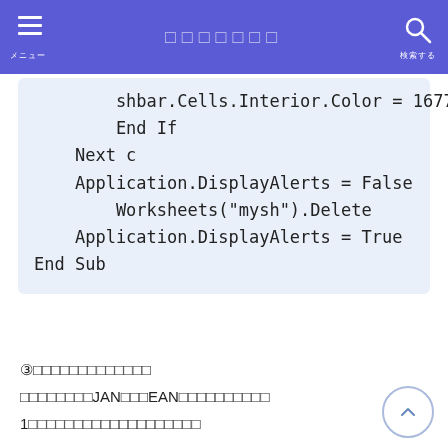メニュー / 検索 / タイトル
shbar.Cells.Interior.Color = 16777215
        End If
    Next c
    Application.DisplayAlerts = False
        Worksheets("mysh").Delete
    Application.DisplayAlerts = True
End Sub
③バーコードシートの作成方法
バーコードには、JANコード（EAN）を使用します。
1つのセルに1桁ずつ入力するようにしてください。